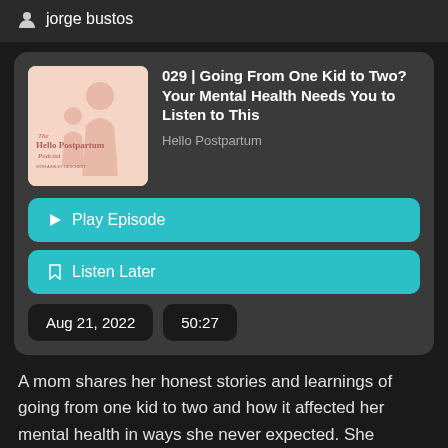jorge bustos
029 | Going From One Kid to Two? Your Mental Health Needs You to Listen to This
Hello Postpartum
Play Episode
Listen Later
Aug 21, 2022
50:27
A mom shares her honest stories and learnings of going from one kid to two and how it affected her mental health in ways she never expected. She shares what she wishes she knew and how you can